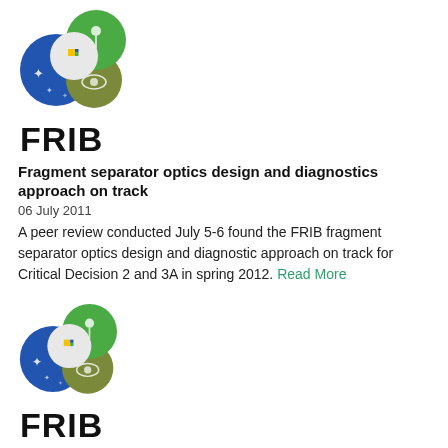[Figure (logo): FRIB logo with overlapping colored circles (blue, green, yellow, white) and atom/star icons, with FRIB wordmark below]
Fragment separator optics design and diagnostics approach on track
06 July 2011
A peer review conducted July 5-6 found the FRIB fragment separator optics design and diagnostic approach on track for Critical Decision 2 and 3A in spring 2012. Read More
[Figure (logo): FRIB logo with overlapping colored circles (blue, green, yellow, white) and atom/star icons, with FRIB wordmark below]
In the news: Editorials support FRIB funding
24 June 2011
Several editorial articles explaining how FRIB will bring innovation and economic development to the entire